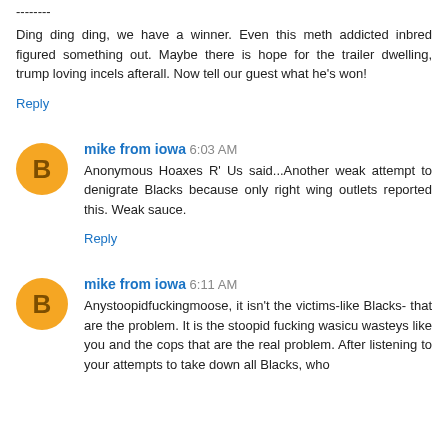--------
Ding ding ding, we have a winner. Even this meth addicted inbred figured something out. Maybe there is hope for the trailer dwelling, trump loving incels afterall. Now tell our guest what he's won!
Reply
mike from iowa  6:03 AM
Anonymous Hoaxes R' Us said...Another weak attempt to denigrate Blacks because only right wing outlets reported this. Weak sauce.
Reply
mike from iowa  6:11 AM
Anystoopidfuckingmoose, it isn't the victims-like Blacks- that are the problem. It is the stoopid fucking wasicu wasteys like you and the cops that are the real problem. After listening to your attempts to take down all Blacks, who